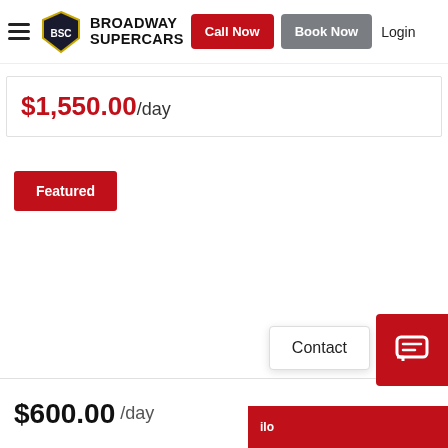Broadway Supercars — Call Now | Book Now | Login
$1,550.00/day
Featured
$600.00 /day
Contact